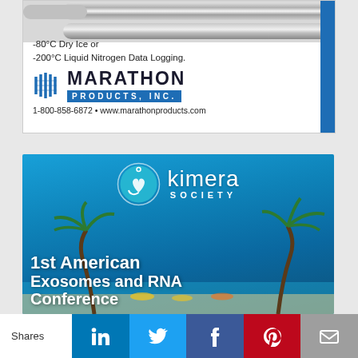[Figure (illustration): Marathon Products Inc. advertisement showing metal probe/tube at top, company logo with blue bars icon, text '-80°C Dry Ice or -200°C Liquid Nitrogen Data Logging.', phone and website contact info. Blue stripe on right side.]
[Figure (illustration): Kimera Society advertisement with tropical beach background (palm trees, ocean, beach chairs), Kimera Society logo (heart icon with circle), and text '1st American Exosomes and RNA Conference' in bold white font.]
Shares
[Figure (other): Social sharing bar with LinkedIn, Twitter, Facebook, Pinterest, and Email buttons.]